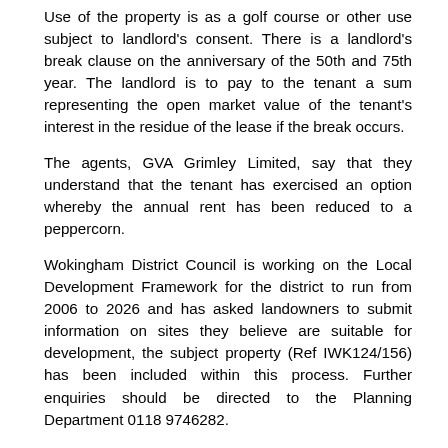Use of the property is as a golf course or other use subject to landlord's consent. There is a landlord's break clause on the anniversary of the 50th and 75th year. The landlord is to pay to the tenant a sum representing the open market value of the tenant's interest in the residue of the lease if the break occurs.
The agents, GVA Grimley Limited, say that they understand that the tenant has exercised an option whereby the annual rent has been reduced to a peppercorn.
Wokingham District Council is working on the Local Development Framework for the district to run from 2006 to 2026 and has asked landowners to submit information on sites they believe are suitable for development, the subject property (Ref IWK124/156) has been included within this process. Further enquiries should be directed to the Planning Department 0118 9746282.